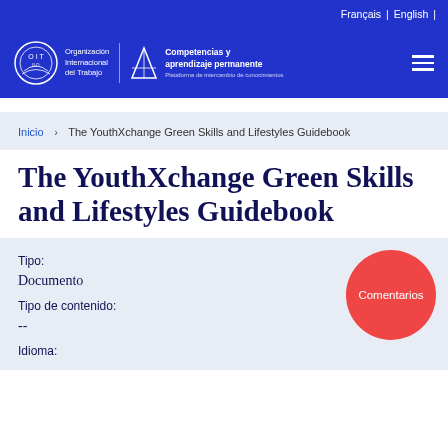Français | English
[Figure (logo): OIT/ILO logo with pyramid icon and text: Organización Internacional del Trabajo | Competencias y aprendizaje permanente Plataforma de intercambio de conocimientos]
Inicio > The YouthXchange Green Skills and Lifestyles Guidebook
The YouthXchange Green Skills and Lifestyles Guidebook
Tipo:
Documento
Tipo de contenido:
--
Idioma:
Comentarios